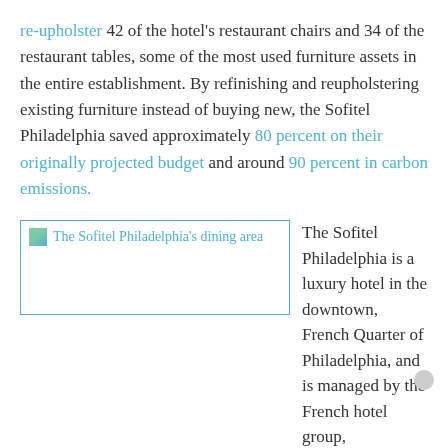re-upholster 42 of the hotel's restaurant chairs and 34 of the restaurant tables, some of the most used furniture assets in the entire establishment. By refinishing and reupholstering existing furniture instead of buying new, the Sofitel Philadelphia saved approximately 80 percent on their originally projected budget and around 90 percent in carbon emissions.
[Figure (photo): The Sofitel Philadelphia's dining area]
The Sofitel Philadelphia is a luxury hotel in the downtown, French Quarter of Philadelphia, and is managed by the French hotel group, Accor. Accor has influence in over 90 countries and owns or operates over 4,400 hotels around the world. Sofitel is
Accor. Accor has influence in over 90 countries and owns or operates over 4,400 hotels around the world. Sofitel is